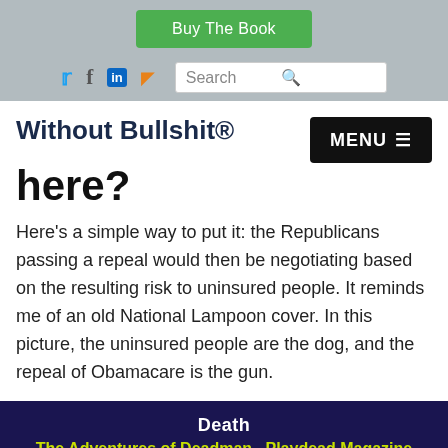Buy The Book
[Figure (screenshot): Navigation bar with social icons (Twitter, Facebook, LinkedIn, RSS) and a search box]
Without Bullshit®
here?
Here's a simple way to put it: the Republicans passing a repeal would then be negotiating based on the resulting risk to uninsured people. It reminds me of an old National Lampoon cover. In this picture, the uninsured people are the dog, and the repeal of Obamacare is the gun.
[Figure (photo): National Lampoon magazine cover showing text: Death, The Adventures of Deadman, Playdead Magazine, Last-Aid Kit, Suicide Letters to Santa, NATIONAL LAMPOON]